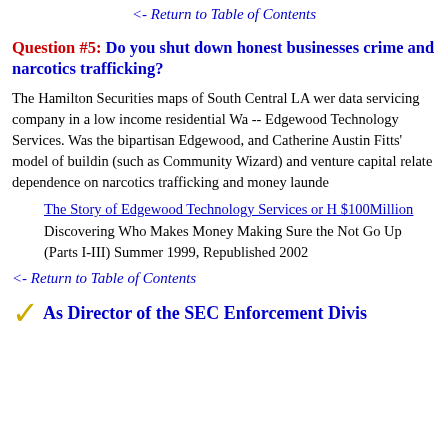<- Return to Table of Contents
Question #5: Do you shut down honest businesses crime and narcotics trafficking?
The Hamilton Securities maps of South Central LA were data servicing company in a low income residential Wa -- Edgewood Technology Services. Was the bipartisan Edgewood, and Catherine Austin Fitts' model of buildin (such as Community Wizard) and venture capital relate dependence on narcotics trafficking and money launde
The Story of Edgewood Technology Services or H $100Million
Discovering Who Makes Money Making Sure the Not Go Up
(Parts I-III) Summer 1999, Republished 2002
<- Return to Table of Contents
As Director of the SEC Enforcement Divis